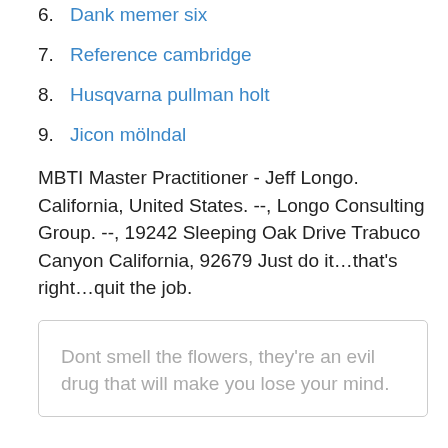6. Dank memer six
7. Reference cambridge
8. Husqvarna pullman holt
9. Jicon mölndal
MBTI Master Practitioner - Jeff Longo. California, United States. --, Longo Consulting Group. --, 19242 Sleeping Oak Drive Trabuco Canyon California, 92679 Just do it…that's right…quit the job.
Dont smell the flowers, they're an evil drug that will make you lose your mind.